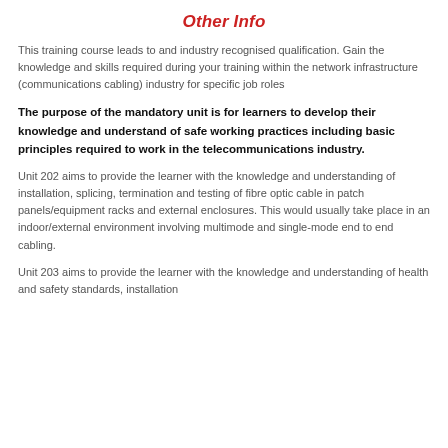Other Info
This training course leads to and industry recognised qualification. Gain the knowledge and skills required during your training within the network infrastructure (communications cabling) industry for specific job roles
The purpose of the mandatory unit is for learners to develop their knowledge and understand of safe working practices including basic principles required to work in the telecommunications industry.
Unit 202 aims to provide the learner with the knowledge and understanding of installation, splicing, termination and testing of fibre optic cable in patch panels/equipment racks and external enclosures. This would usually take place in an indoor/external environment involving multimode and single-mode end to end cabling.
Unit 203 aims to provide the learner with the knowledge and understanding of health and safety standards, installation